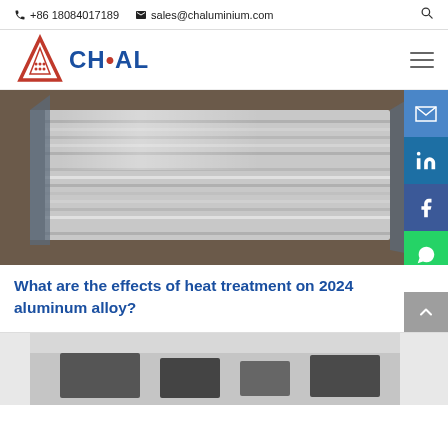+86 18084017189  sales@chaluminium.com
[Figure (logo): ACHAL aluminium company logo with red triangle A and blue text CH·AL]
[Figure (photo): Stack of aluminium alloy sheets wrapped in protective packaging, viewed from the side showing multiple layers]
What are the effects of heat treatment on 2024 aluminum alloy?
[Figure (photo): Partial view of another aluminium product article image at the bottom of the page]